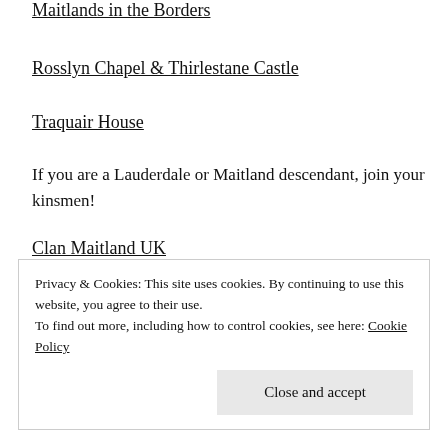Maitlands in the Borders
Rosslyn Chapel & Thirlestane Castle
Traquair House
If you are a Lauderdale or Maitland descendant, join your kinsmen!
Clan Maitland UK
Clan Maitland North America
Privacy & Cookies: This site uses cookies. By continuing to use this website, you agree to their use.
To find out more, including how to control cookies, see here: Cookie Policy
Close and accept